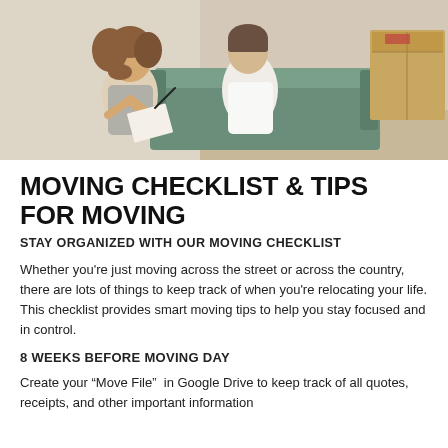[Figure (photo): Two people sitting on a couch reviewing a checklist/clipboard, with moving boxes visible in the background. One person has curly hair and is writing on a notepad.]
MOVING CHECKLIST & TIPS FOR MOVING
STAY ORGANIZED WITH OUR MOVING CHECKLIST
Whether you’re just moving across the street or across the country, there are lots of things to keep track of when you’re relocating your life. This checklist provides smart moving tips to help you stay focused and in control.
8 WEEKS BEFORE MOVING DAY
Create your “Move File”  in Google Drive to keep track of all quotes, receipts, and other important information